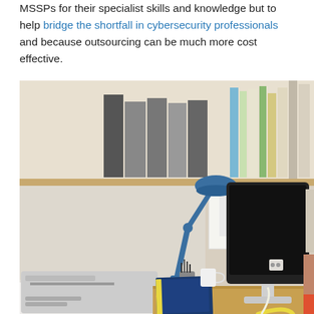MSSPs for their specialist skills and knowledge but to help bridge the shortfall in cybersecurity professionals and because outsourcing can be much more cost effective.
[Figure (photo): An office desk workspace showing a blue adjustable desk lamp, an Apple iMac computer with a black screen, a laser printer on the left, a blue notebook, pen holder, books and binders on wall shelves above, and various papers/posters pinned to the wall. A yellow cable is visible on the floor.]